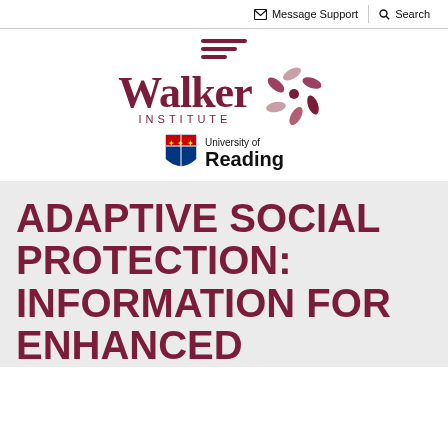Message Support  Search
[Figure (logo): Walker Institute logo with stylized pinwheel graphic, and University of Reading logo with shield]
ADAPTIVE SOCIAL PROTECTION: INFORMATION FOR ENHANCED